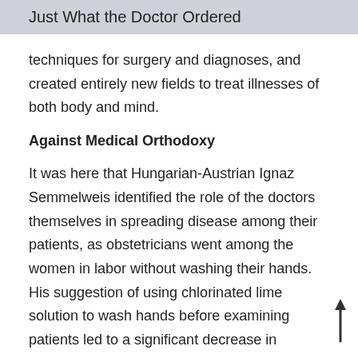Just What the Doctor Ordered
techniques for surgery and diagnoses, and created entirely new fields to treat illnesses of both body and mind.
Against Medical Orthodoxy
It was here that Hungarian-Austrian Ignaz Semmelweis identified the role of the doctors themselves in spreading disease among their patients, as obstetricians went among the women in labor without washing their hands. His suggestion of using chlorinated lime solution to wash hands before examining patients led to a significant decrease in premature births in his ward.
But in 1861, when he published these findings, the profession wasn't ready. Semmelweis faced a lifetime of